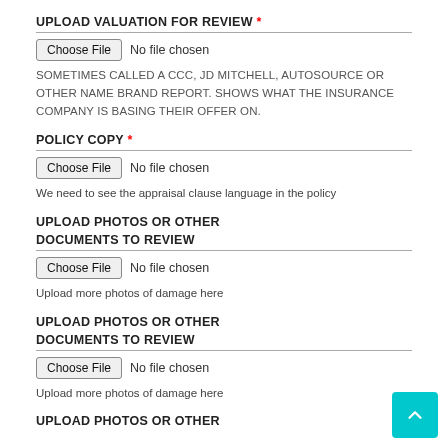UPLOAD VALUATION FOR REVIEW *
Choose File  No file chosen
SOMETIMES CALLED A CCC, JD MITCHELL, AUTOSOURCE OR OTHER NAME BRAND REPORT. SHOWS WHAT THE INSURANCE COMPANY IS BASING THEIR OFFER ON.
POLICY COPY *
Choose File  No file chosen
We need to see the appraisal clause language in the policy
UPLOAD PHOTOS OR OTHER DOCUMENTS TO REVIEW
Choose File  No file chosen
Upload more photos of damage here
UPLOAD PHOTOS OR OTHER DOCUMENTS TO REVIEW
Choose File  No file chosen
Upload more photos of damage here
UPLOAD PHOTOS OR OTHER